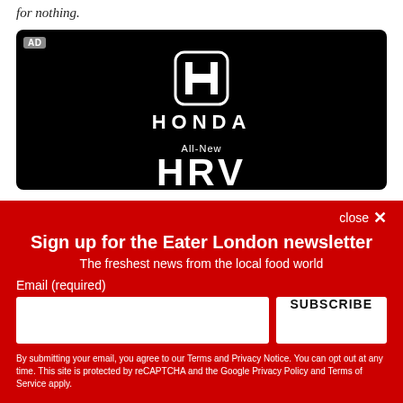for nothing.
[Figure (advertisement): Honda advertisement on black background showing the Honda H logo, HONDA wordmark, 'All-New' text with decorative lines, and partial large 'HRV' text. An 'AD' label appears in the top left corner.]
close ✕
Sign up for the Eater London newsletter
The freshest news from the local food world
Email (required)
SUBSCRIBE
By submitting your email, you agree to our Terms and Privacy Notice. You can opt out at any time. This site is protected by reCAPTCHA and the Google Privacy Policy and Terms of Service apply.